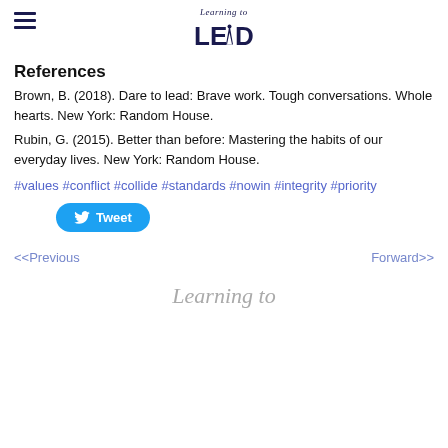Learning to LEAD
References
Brown, B. (2018). Dare to lead: Brave work. Tough conversations. Whole hearts. New York: Random House.
Rubin, G. (2015). Better than before: Mastering the habits of our everyday lives. New York: Random House.
#values #conflict #collide #standards #nowin #integrity #priority
[Figure (other): Tweet button with Twitter bird icon]
<<Previous    Forward>>
[Figure (logo): Learning to logo at bottom of page]